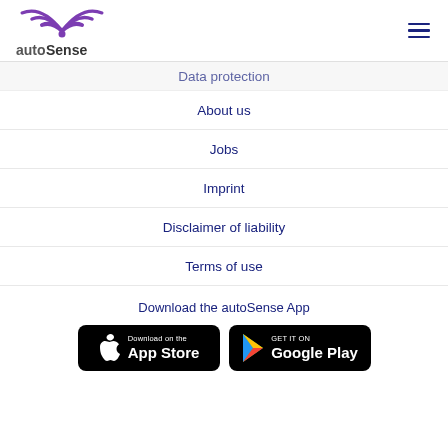[Figure (logo): autoSense logo with purple WiFi arc and text autoSense]
[Figure (other): Hamburger menu icon (three horizontal lines, dark blue)]
Data protection
About us
Jobs
Imprint
Disclaimer of liability
Terms of use
Download the autoSense App
[Figure (other): Download on the App Store button (black rounded rectangle with Apple logo)]
[Figure (other): Get it on Google Play button (black rounded rectangle with Google Play triangle logo)]